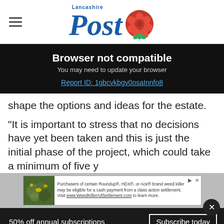Lancashire Post
Browser not compatible
You may need to update your browser
Report ID: 1gbcvkbgv0osaInnfo8
shape the options and ideas for the estate.
“It is important to stress that no decisions have yet been taken and this is just the initial phase of the project, which could take a minimum of five y
[Figure (other): Advertisement banner for weed killer class action settlement]
50% off annual subscriptions   Subscribe today